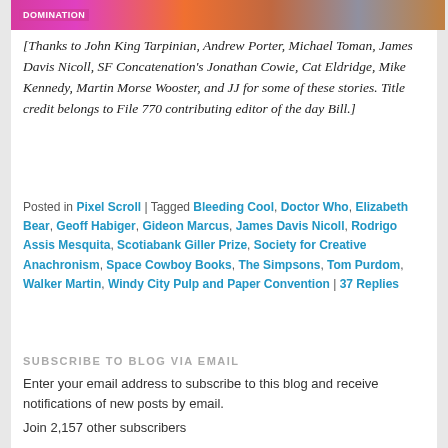[Figure (photo): Cropped banner image with pink/magenta 'DOMINATION' text overlay on left, illustrated/photographic content on right]
[Thanks to John King Tarpinian, Andrew Porter, Michael Toman, James Davis Nicoll, SF Concatenation's Jonathan Cowie, Cat Eldridge, Mike Kennedy, Martin Morse Wooster, and JJ for some of these stories. Title credit belongs to File 770 contributing editor of the day Bill.]
Posted in Pixel Scroll | Tagged Bleeding Cool, Doctor Who, Elizabeth Bear, Geoff Habiger, Gideon Marcus, James Davis Nicoll, Rodrigo Assis Mesquita, Scotiabank Giller Prize, Society for Creative Anachronism, Space Cowboy Books, The Simpsons, Tom Purdom, Walker Martin, Windy City Pulp and Paper Convention | 37 Replies
SUBSCRIBE TO BLOG VIA EMAIL
Enter your email address to subscribe to this blog and receive notifications of new posts by email.
Join 2,157 other subscribers